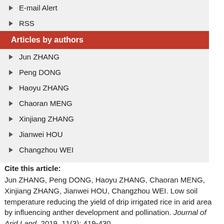E-mail Alert
RSS
Articles by authors
Jun ZHANG
Peng DONG
Haoyu ZHANG
Chaoran MENG
Xinjiang ZHANG
Jianwei HOU
Changzhou WEI
Cite this article: Jun ZHANG, Peng DONG, Haoyu ZHANG, Chaoran MENG, Xinjiang ZHANG, Jianwei HOU, Changzhou WEI. Low soil temperature reducing the yield of drip irrigated rice in arid area by influencing anther development and pollination. Journal of Arid Land, 2019, 11(3): 419-430.
URL:
http://jal.xjegi.com/10.1007/s40333-019-0103-9   OR   http://jal.xjegi.co